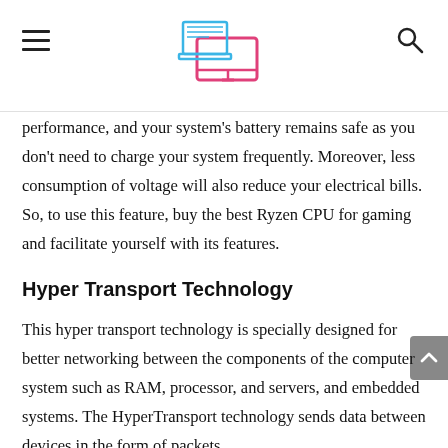[Navigation header with hamburger menu, computer logo, and search icon]
performance, and your system’s battery remains safe as you don’t need to charge your system frequently. Moreover, less consumption of voltage will also reduce your electrical bills. So, to use this feature, buy the best Ryzen CPU for gaming and facilitate yourself with its features.
Hyper Transport Technology
This hyper transport technology is specially designed for better networking between the components of the computer system such as RAM, processor, and servers, and embedded systems. The HyperTransport technology sends data between devices in the form of packets.